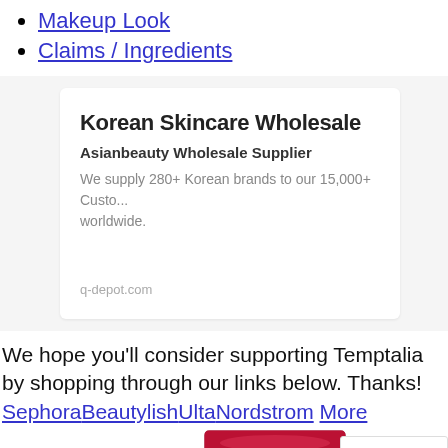Makeup Look
Claims / Ingredients
[Figure (other): Advertisement card for Korean Skincare Wholesale - Asianbeauty Wholesale Supplier from q-depot.com]
We hope you'll consider supporting Temptalia by shopping through our links below. Thanks!
SephoraBeautylishUltaNordstrom More
[Figure (photo): Two makeup palette compacts shown at bottom of page, with an error box showing 'ERROR fo... Invalid do...']